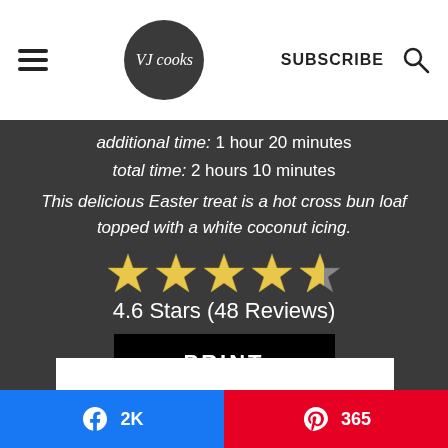VJ Cooks — navigation bar with hamburger menu, logo, SUBSCRIBE, and search icon
additional time: 1 hour 20 minutes
total time: 2 hours 10 minutes
This delicious Easter treat is a hot cross bun loaf topped with a white coconut icing.
[Figure (other): 4.6 out of 5 star rating shown as 4 full gold stars and 1 partial gold star]
4.6 Stars (48 Reviews)
PRINT
Facebook 2K | Pinterest 365